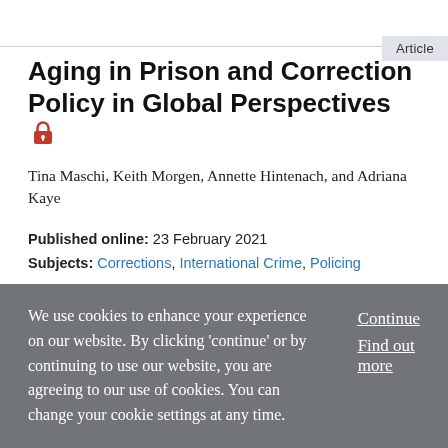Article
Aging in Prison and Correction Policy in Global Perspectives 🔒
Tina Maschi, Keith Morgen, Annette Hintenach, and Adriana Kaye
Published online: 23 February 2021
Subjects: Corrections, International Crime, Policing
There has been a growing awareness among academic and professional communities, as well as the general public, of the global rise in the number of aging prisoners across the
We use cookies to enhance your experience on our website. By clicking 'continue' or by continuing to use our website, you are agreeing to our use of cookies. You can change your cookie settings at any time.
Continue
Find out more